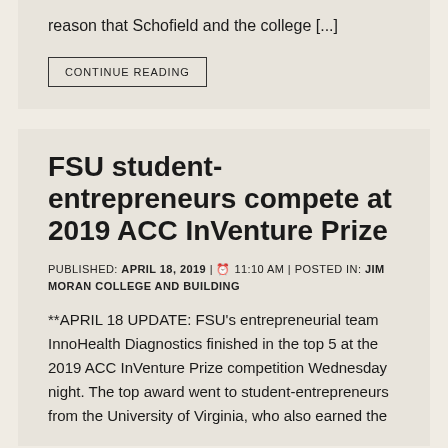reason that Schofield and the college [...]
CONTINUE READING
FSU student-entrepreneurs compete at 2019 ACC InVenture Prize
PUBLISHED: APRIL 18, 2019 | 11:10 AM | POSTED IN: JIM MORAN COLLEGE AND BUILDING
**APRIL 18 UPDATE: FSU's entrepreneurial team InnoHealth Diagnostics finished in the top 5 at the 2019 ACC InVenture Prize competition Wednesday night. The top award went to student-entrepreneurs from the University of Virginia, who also earned the